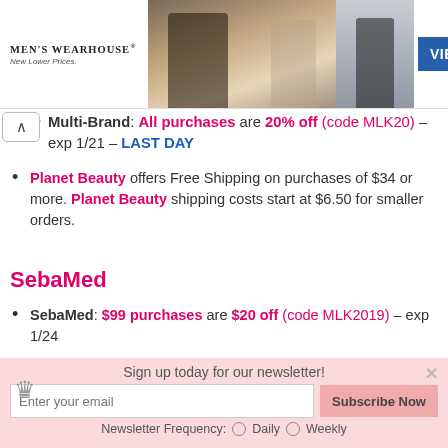[Figure (photo): Men's Wearhouse advertisement banner with couple in wedding attire and solo man in suit, with blue VIEW button]
Multi-Brand: All purchases are 20% off (code MLK20) – exp 1/21 – LAST DAY
Planet Beauty offers Free Shipping on purchases of $34 or more. Planet Beauty shipping costs start at $6.50 for smaller orders.
SebaMed
SebaMed: $99 purchases are $20 off (code MLK2019) – exp 1/24
Sign up today for our newsletter!
Enter your email  Subscribe Now  Newsletter Frequency: Daily  Weekly